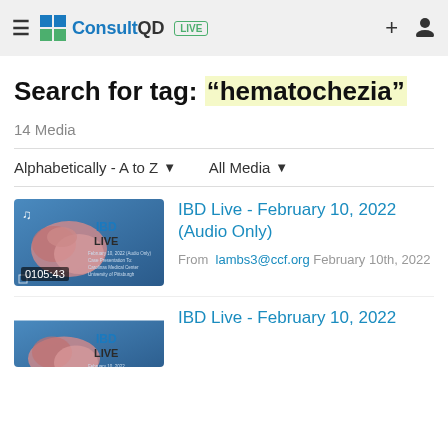ConsultQD LIVE
Search for tag: “hematochezia”
14 Media
Alphabetically - A to Z   All Media
[Figure (screenshot): Thumbnail image of IBD Live session with intestinal anatomy and IBDLive logo. Duration shown: 0105:43]
IBD Live - February 10, 2022 (Audio Only)
From lambs3@ccf.org February 10th, 2022
[Figure (screenshot): Thumbnail image of IBD Live session with intestinal anatomy and IBDLive logo (partial, second result)]
IBD Live - February 10, 2022